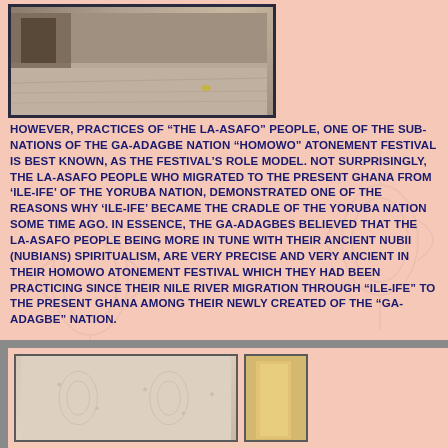[Figure (photo): A photograph showing a ground/floor surface with gray tones, displayed in a dark frame at the top of the page.]
HOWEVER, PRACTICES OF “THE LA-ASAFO” PEOPLE, ONE OF THE SUB-NATIONS OF THE GA-ADAGBE NATION “HOMOWO” ATONEMENT FESTIVAL IS BEST KNOWN, AS THE FESTIVAL’S ROLE MODEL. NOT SURPRISINGLY, THE LA-ASAFO PEOPLE WHO MIGRATED TO THE PRESENT GHANA FROM ‘ILE-IFE’ OF THE YORUBA NATION, DEMONSTRATED ONE OF THE REASONS WHY ‘ILE-IFE’ BECAME THE CRADLE OF THE YORUBA NATION SOME TIME AGO. IN ESSENCE, THE GA-ADAGBES BELIEVED THAT THE LA-ASAFO PEOPLE BEING MORE IN TUNE WITH THEIR ANCIENT NUBII (NUBIANS) SPIRITUALISM, ARE VERY PRECISE AND VERY ANCIENT IN THEIR HOMOWO ATONEMENT FESTIVAL WHICH THEY HAD BEEN PRACTICING SINCE THEIR NILE RIVER MIGRATION THROUGH “ILE-IFE” TO THE PRESENT GHANA AMONG THEIR NEWLY CREATED OF THE “GA-ADAGBE” NATION.
[Figure (photo): Two photographs at the bottom of the page in a gray-framed panel. The left photo shows a light-colored surface with faint patterns. The right photo is partially visible showing warm tones.]